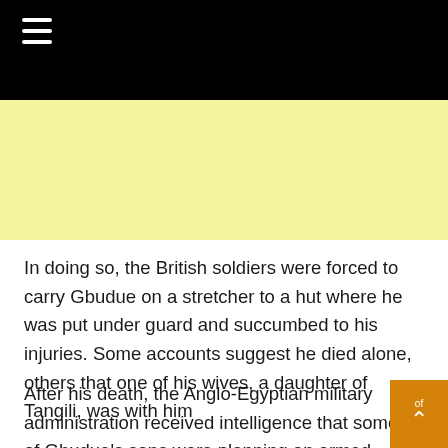[Figure (other): Yellow advertisement banner area]
In doing so, the British soldiers were forced to carry Gbudue on a stretcher to a hut where he was put under guard and succumbed to his injuries. Some accounts suggest he died alone, others that one of his wives, a daughter of Tangili, was with him
After his death, the Anglo-Egyptian military administration received intelligence that some of Gbudue's sons were planning an armed revolt